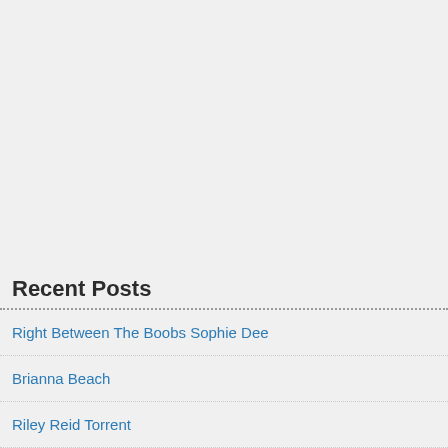Recent Posts
Right Between The Boobs Sophie Dee
Brianna Beach
Riley Reid Torrent